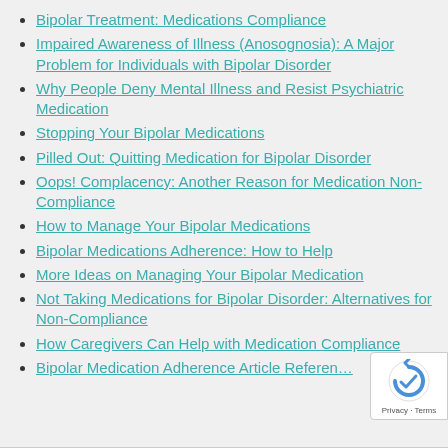Bipolar Treatment: Medications Compliance
Impaired Awareness of Illness (Anosognosia): A Major Problem for Individuals with Bipolar Disorder
Why People Deny Mental Illness and Resist Psychiatric Medication
Stopping Your Bipolar Medications
Pilled Out: Quitting Medication for Bipolar Disorder
Oops! Complacency: Another Reason for Medication Non-Compliance
How to Manage Your Bipolar Medications
Bipolar Medications Adherence: How to Help
More Ideas on Managing Your Bipolar Medication
Not Taking Medications for Bipolar Disorder: Alternatives for Non-Compliance
How Caregivers Can Help with Medication Compliance
Bipolar Medication Adherence Article Referen…